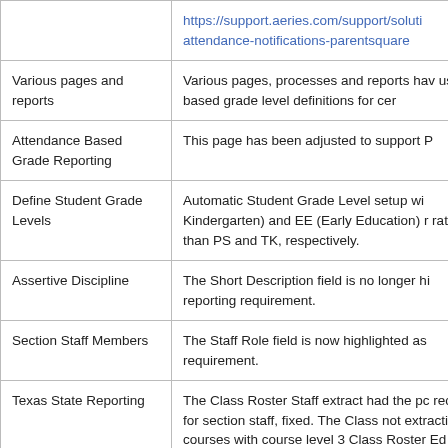| Page/Feature | Description |
| --- | --- |
|  | https://support.aeries.com/support/soluti attendance-notifications-parentsquare |
| Various pages and reports | Various pages, processes and reports hav user based grade level definitions for cer |
| Attendance Based Grade Reporting | This page has been adjusted to support P |
| Define Student Grade Levels | Automatic Student Grade Level setup wi Kindergarten) and EE (Early Education) r rather than PS and TK, respectively. |
| Assertive Discipline | The Short Description field is no longer hi reporting requirement. |
| Section Staff Members | The Staff Role field is now highlighted as requirement. |
| Texas State Reporting | The Class Roster Staff extract had the pc records for section staff, fixed. The Class not extracting courses with course level 3 Class Roster Ed Org and Master Schedul state course code as well as the LEA cour |